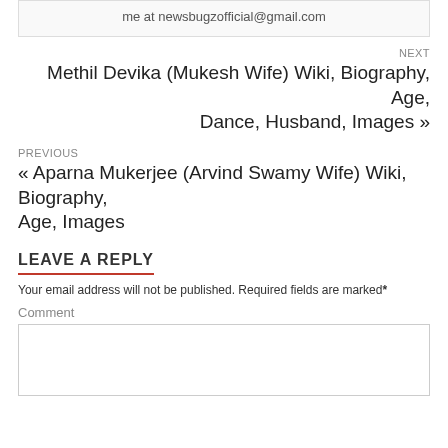me at newsbugzofficial@gmail.com
NEXT
Methil Devika (Mukesh Wife) Wiki, Biography, Age, Dance, Husband, Images »
PREVIOUS
« Aparna Mukerjee (Arvind Swamy Wife) Wiki, Biography, Age, Images
LEAVE A REPLY
Your email address will not be published. Required fields are marked*
Comment